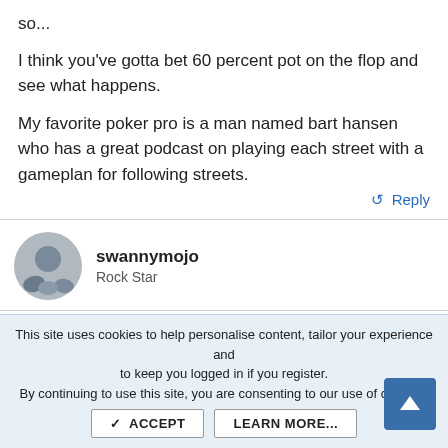so...
I think you've gotta bet 60 percent pot on the flop and see what happens.
My favorite poker pro is a man named bart hansen who has a great podcast on playing each street with a gameplan for following streets.
↺ Reply
swannymojo
Rock Star
Sep 25, 2018
#24
This site uses cookies to help personalise content, tailor your experience and to keep you logged in if you register.
By continuing to use this site, you are consenting to our use of cookies.
✓ ACCEPT
LEARN MORE...